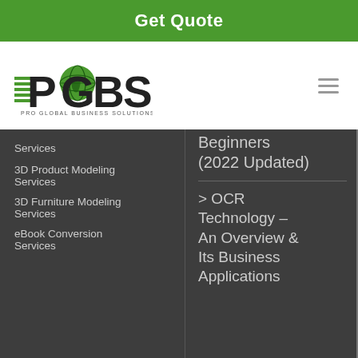Get Quote
[Figure (logo): PGBS - Pro Global Business Solutions logo with green globe icon and horizontal lines]
Services
3D Product Modeling Services
3D Furniture Modeling Services
eBook Conversion Services
Beginners (2022 Updated)
> OCR Technology – An Overview & Its Business Applications